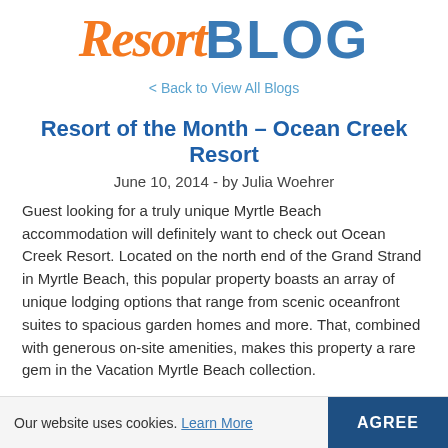Resort BLOG
< Back to View All Blogs
Resort of the Month – Ocean Creek Resort
June 10, 2014 - by Julia Woehrer
Guest looking for a truly unique Myrtle Beach accommodation will definitely want to check out Ocean Creek Resort. Located on the north end of the Grand Strand in Myrtle Beach, this popular property boasts an array of unique lodging options that range from scenic oceanfront suites to spacious garden homes and more. That, combined with generous on-site amenities, makes this property a rare gem in the Vacation Myrtle Beach collection.
Our website uses cookies. Learn More  AGREE